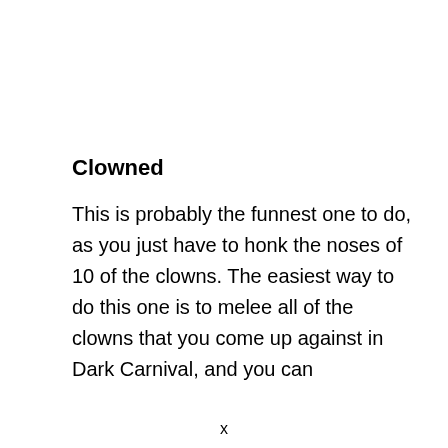Clowned
This is probably the funnest one to do, as you just have to honk the noses of 10 of the clowns. The easiest way to do this one is to melee all of the clowns that you come up against in Dark Carnival, and you can